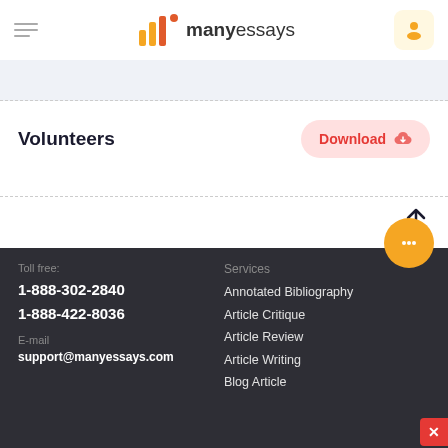manyessays — header navigation
Volunteers
Download
Toll free:
1-888-302-2840
1-888-422-8036
E-mail
support@manyessays.com
Services
Annotated Bibliography
Article Critique
Article Review
Article Writing
Blog Article